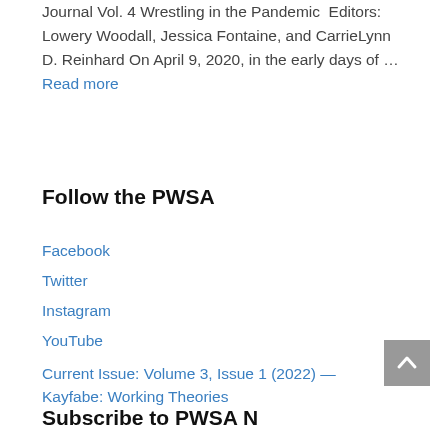Journal Vol. 4 Wrestling in the Pandemic  Editors: Lowery Woodall, Jessica Fontaine, and CarrieLynn D. Reinhard On April 9, 2020, in the early days of … Read more
Follow the PWSA
Facebook
Twitter
Instagram
YouTube
Current Issue: Volume 3, Issue 1 (2022) — Kayfabe: Working Theories
Subscribe to PWSA News